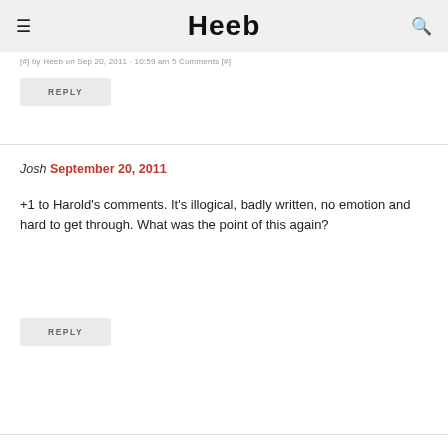Heeb
[#] by Heeb on Sep 20, 2011 · 10:59 am 5 Comments [#]
REPLY
Josh September 20, 2011
+1 to Harold's comments. It's illogical, badly written, no emotion and hard to get through. What was the point of this again?
REPLY